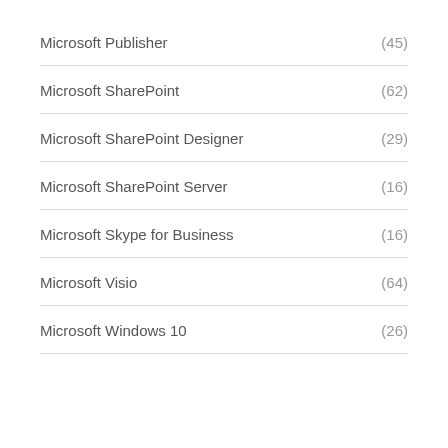Microsoft Publisher (45)
Microsoft SharePoint (62)
Microsoft SharePoint Designer (29)
Microsoft SharePoint Server (16)
Microsoft Skype for Business (16)
Microsoft Visio (64)
Microsoft Windows 10 (26)